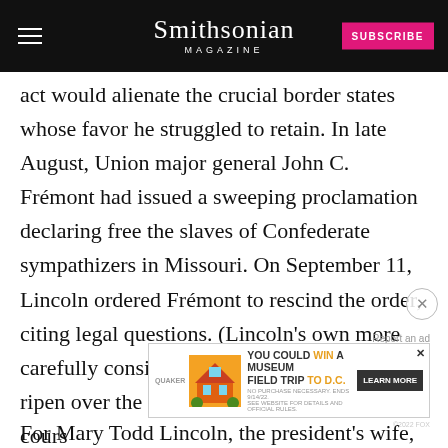Smithsonian MAGAZINE
act would alienate the crucial border states whose favor he struggled to retain. In late August, Union major general John C. Frémont had issued a sweeping proclamation declaring free the slaves of Confederate sympathizers in Missouri. On September 11, Lincoln ordered Frémont to rescind the order, citing legal questions. (Lincoln's own more carefully considered proclamation would ripen over the cours...
[Figure (screenshot): Quaker Museum Day advertisement: YOU COULD WIN A MUSEUM FIELD TRIP TO D.C. LEARN MORE]
For Mary Todd Lincoln, the president's wife, the